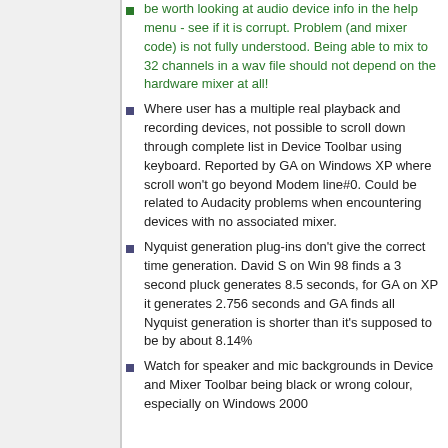be worth looking at audio device info in the help menu - see if it is corrupt. Problem (and mixer code) is not fully understood. Being able to mix to 32 channels in a wav file should not depend on the hardware mixer at all!
Where user has a multiple real playback and recording devices, not possible to scroll down through complete list in Device Toolbar using keyboard. Reported by GA on Windows XP where scroll won't go beyond Modem line#0. Could be related to Audacity problems when encountering devices with no associated mixer.
Nyquist generation plug-ins don't give the correct time generation. David S on Win 98 finds a 3 second pluck generates 8.5 seconds, for GA on XP it generates 2.756 seconds and GA finds all Nyquist generation is shorter than it's supposed to be by about 8.14%
Watch for speaker and mic backgrounds in Device and Mixer Toolbar being black or wrong colour, especially on Windows 2000